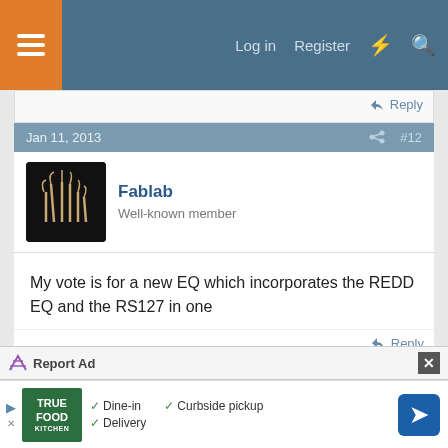Log in  Register
Reply
Jan 11, 2013  #12
Fablab
Well-known member
My vote is for a new EQ which incorporates the REDD EQ and the RS127 in one
Reply
Advertisement
Report Ad